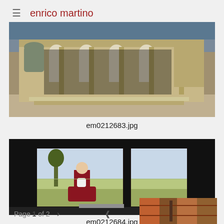≡ enrico martino
[Figure (photo): Photograph of a historic building facade with arched colonnades, partially ruined, showing columns and ornate architectural details. Labeled em0212683.jpg]
em0212683.jpg
[Figure (photo): Photograph of a young girl in a red dress holding a small animal, standing outside viewed through a large window with a landscape behind her. Labeled em0212684.jpg]
em0212684.jpg
Page 1 of 2  >  <
[Figure (photo): Partial view of a third photograph at the bottom right of the page, showing colorful decorative or textile patterns.]